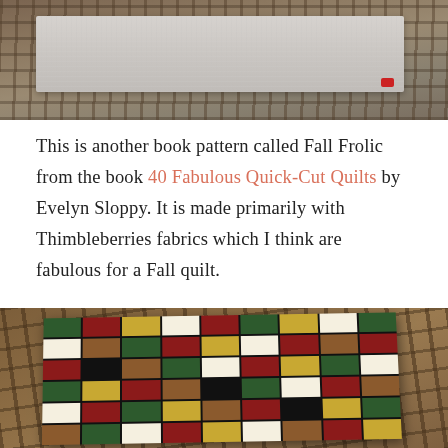[Figure (photo): A folded piece of gray/silver textured fabric laid on a wooden deck surface, viewed from above. A small red tag is visible on the bottom right corner of the fabric.]
This is another book pattern called Fall Frolic from the book 40 Fabulous Quick-Cut Quilts by Evelyn Sloppy. It is made primarily with Thimbleberries fabrics which I think are fabulous for a Fall quilt.
[Figure (photo): A colorful patchwork quilt laid on a wooden deck. The quilt features a Fall Frolic pattern with squares and rectangles in autumn colors: dark green, burgundy/red, golden yellow, tan/brown, cream/white, and black. The quilt is photographed at a slight angle showing the full quilt top.]